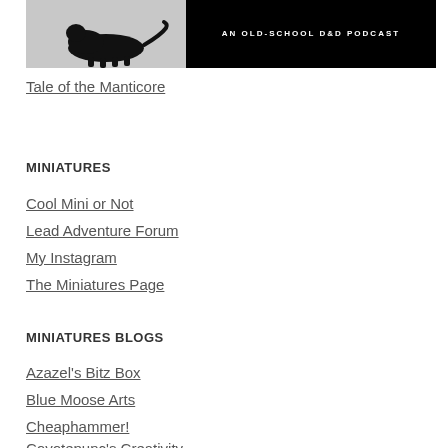[Figure (illustration): Black and white image: silhouette of a creature on left half, right half shows text 'AN OLD-SCHOOL D&D PODCAST' on dark background]
Tale of the Manticore
MINIATURES
Cool Mini or Not
Lead Adventure Forum
My Instagram
The Miniatures Page
MINIATURES BLOGS
Azazel's Bitz Box
Blue Moose Arts
Cheaphammer!
Coyotepunc's Creativity